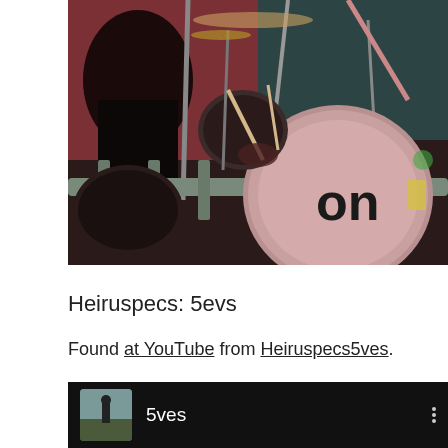[Figure (photo): A drummer on stage behind a drum kit with a large bass drum showing the letters 'on'. A metal crowd barrier is visible in the foreground. The image is a live concert/performance photo.]
Heiruspecs: 5evs
Found at YouTube from Heiruspecs5ves.
[Figure (screenshot): YouTube channel bar showing a small thumbnail avatar (person standing outdoors) and the channel name '5ves' in white text on a black background, with a three-dot menu icon on the right.]